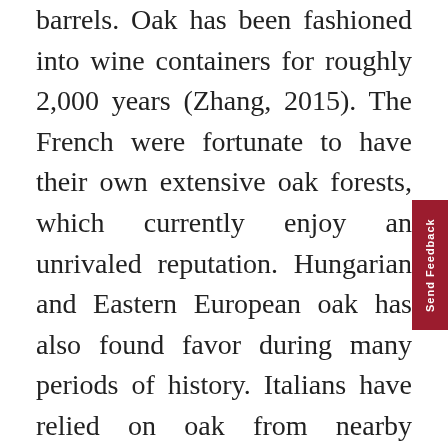barrels. Oak has been fashioned into wine containers for roughly 2,000 years (Zhang, 2015). The French were fortunate to have their own extensive oak forests, which currently enjoy an unrivaled reputation. Hungarian and Eastern European oak has also found favor during many periods of history. Italians have relied on oak from nearby Slovenia. Distinctive American oak has been preferred by winemakers as far away as Spain and Australia.

There are in fact many species of oak tree around the world belonging to the genus Quercus. Three main species are utilized for wine containers. Quercus robur, referred to as pedunculate oak, is found across much of Europe (IFVV). It is rich in phenols and ellagitannins. Quercus petraea, commonly called